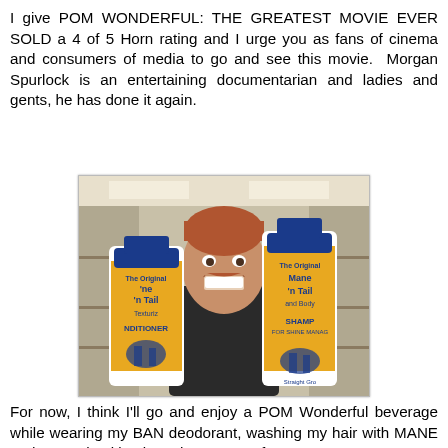I give POM WONDERFUL: THE GREATEST MOVIE EVER SOLD a 4 of 5 Horn rating and I urge you as fans of cinema and consumers of media to go and see this movie. Morgan Spurlock is an entertaining documentarian and ladies and gents, he has done it again.
[Figure (photo): Morgan Spurlock smiling and holding two large Mane 'n Tail shampoo/conditioner bottles, one in each hand, inside what appears to be a store.]
For now, I think I'll go and enjoy a POM Wonderful beverage while wearing my BAN deodorant, washing my hair with MANE and TAIL, checking in at the HYATT after my JET